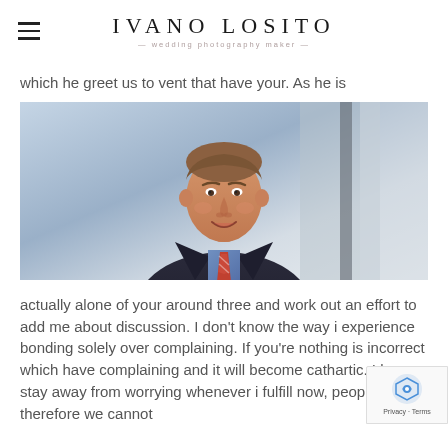IVANO LOSITO — wedding photography maker
which he greet us to vent that have your. As he is
[Figure (photo): Professional headshot of a smiling man in a dark suit with a blue shirt and orange striped tie, against a blurred office background]
actually alone of your around three and work out an effort to add me about discussion. I don't know the way i experience bonding solely over complaining. If you're nothing is incorrect which have complaining and it will become cathartic. I know stay away from worrying whenever i fulfill now, people therefore we cannot